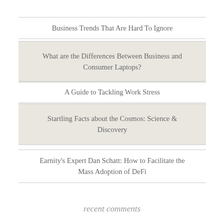Business Trends That Are Hard To Ignore
What are the Differences Between Business and Consumer Laptops?
A Guide to Tackling Work Stress
Startling Facts about the Cosmos: Science & Discovery
Earnity's Expert Dan Schatt: How to Facilitate the Mass Adoption of DeFi
recent comments